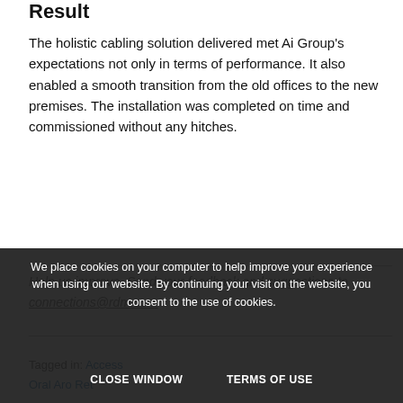Result
The holistic cabling solution delivered met Ai Group's expectations not only in terms of performance. It also enabled a smooth transition from the old offices to the new premises. The installation was completed on time and commissioned without any hitches.
Help us improve. Send your feedback and suggestions to connections@rdm.com
Tagged in: [links] | Oral Aro Reti...